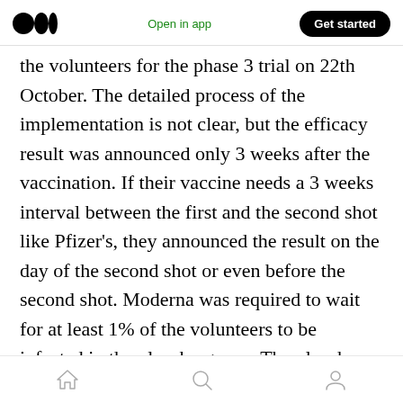Medium logo | Open in app | Get started
the volunteers for the phase 3 trial on 22th October. The detailed process of the implementation is not clear, but the efficacy result was announced only 3 weeks after the vaccination. If their vaccine needs a 3 weeks interval between the first and the second shot like Pfizer's, they announced the result on the day of the second shot or even before the second shot. Moderna was required to wait for at least 1% of the volunteers to be infected in the placebo group. The placebo volunteers were infected sooner than estimated and one third showed
Home | Search | Profile